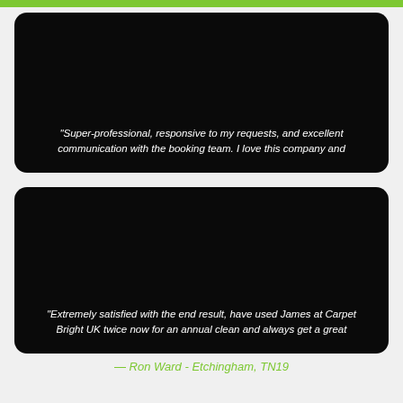[Figure (other): Dark rounded card with partial testimonial quote text]
"Super-professional, responsive to my requests, and excellent communication with the booking team. I love this company and
[Figure (other): Dark rounded card with partial testimonial quote text]
"Extremely satisfied with the end result, have used James at Carpet Bright UK twice now for an annual clean and always get a great
— Ron Ward - Etchingham, TN19